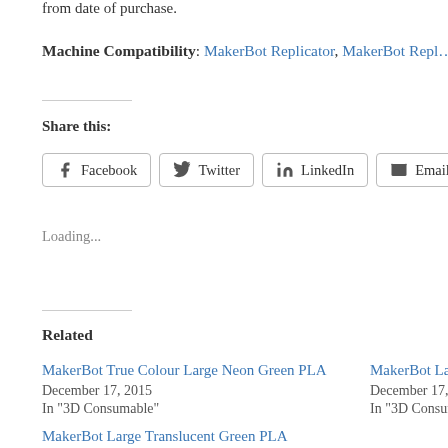from date of purchase.
Machine Compatibility: MakerBot Replicator, MakerBot Repl…
Share this:
Facebook  Twitter  LinkedIn  Email  Print
Loading...
Related
MakerBot True Colour Large Neon Green PLA
December 17, 2015
In "3D Consumable"
MakerBot Larg…
December 17, 2…
In "3D Consum…"
MakerBot Large Translucent Green PLA
December 17, 2015